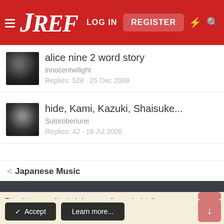JREF — LOG IN  REGISTER
alice nine 2 word story
innocentwilight
Replies: 528 · 25 Dec 2008
hide, Kami, Kazuki, Shaisuke...
Sutoroberiurei
Replies: 42 · 18 Jul 2006
< Japanese Music
This site uses cookies to help personalise content, tailor your experience and to keep you logged in if you register.
By continuing to use this site, you are consenting to our use of cookies.
✓ Accept    Learn more...